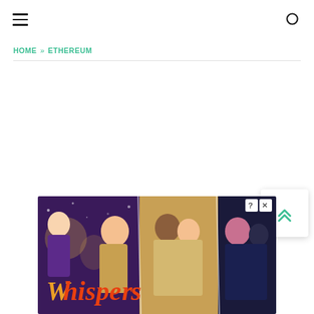Navigation header with hamburger menu and search icon
HOME » ETHEREUM
[Figure (screenshot): Advertisement banner showing 'Whispers' mobile game with romantic collage imagery of couples]